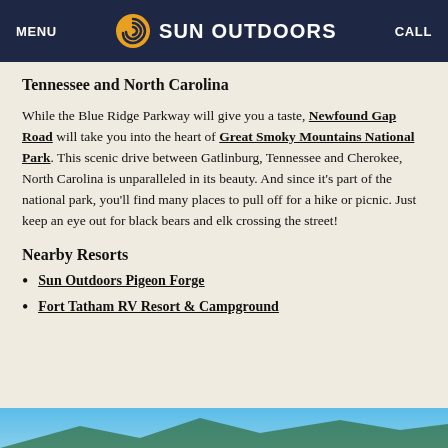MENU  SUN OUTDOORS  CALL
Tennessee and North Carolina
While the Blue Ridge Parkway will give you a taste, Newfound Gap Road will take you into the heart of Great Smoky Mountains National Park. This scenic drive between Gatlinburg, Tennessee and Cherokee, North Carolina is unparalleled in its beauty. And since it's part of the national park, you'll find many places to pull off for a hike or picnic. Just keep an eye out for black bears and elk crossing the street!
Nearby Resorts
Sun Outdoors Pigeon Forge
Fort Tatham RV Resort & Campground
[Figure (photo): Bottom strip of a scenic outdoor photo, partially visible at bottom of page]